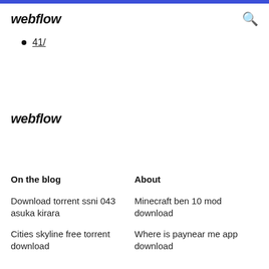webflow
41/
webflow
On the blog
About
Download torrent ssni 043 asuka kirara
Minecraft ben 10 mod download
Cities skyline free torrent download
Where is paynear me app download